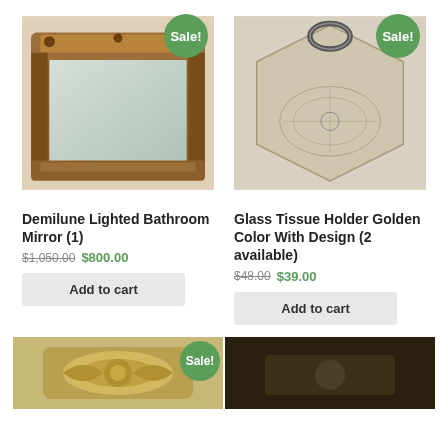[Figure (photo): Ornate wooden demilune lighted bathroom mirror with carved frame]
[Figure (photo): Hexagonal glass tissue holder with golden floral design and metal ring handle]
Demilune Lighted Bathroom Mirror (1)
$1,050.00 $800.00
Add to cart
Glass Tissue Holder Golden Color With Design (2 available)
$48.00 $39.00
Add to cart
[Figure (photo): Ornate decorative piece with Sale badge]
[Figure (photo): Dark colored item partial view]